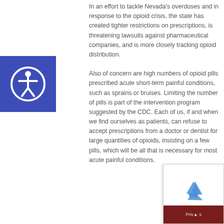In an effort to tackle Nevada's overdoses and in response to the opioid crisis, the state has created tighter restrictions on prescriptions, is threatening lawsuits against pharmaceutical companies, and is more closely tracking opioid distribution.
Also of concern are high numbers of opioid pills prescribed acute short-term painful conditions, such as sprains or bruises. Limiting the number of pills is part of the intervention program suggested by the CDC. Each of us, if and when we find ourselves as patients, can refuse to accept prescriptions from a doctor or dentist for large quantities of opioids, insisting on a few pills, which will be all that is necessary for most acute painful conditions.
[Figure (other): Accessibility icon (person in circle) on blue/purple background square]
[Figure (other): Broken image placeholder box with a small landscape image icon in the top-left corner]
[Figure (other): reCAPTCHA widget with blue recycling-style arrows logo and a dark red bar at the bottom with Privacy text]